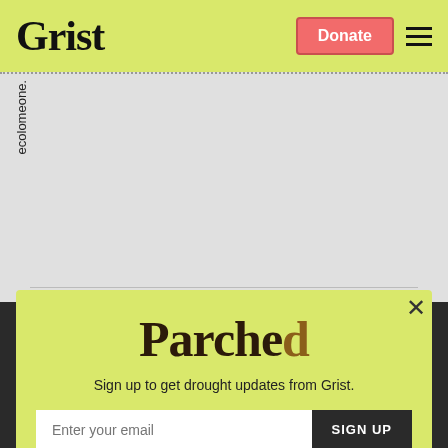Grist | Donate
ecolomeone.
[Figure (screenshot): Parched newsletter signup popup modal on Grist website with yellow-green background. Contains Parched logo, subtitle 'Sign up to get drought updates from Grist.', email input field, SIGN UP button, and 'No thanks' link.]
Sign up to get drought updates from Grist.
Enter your email
SIGN UP
No thanks